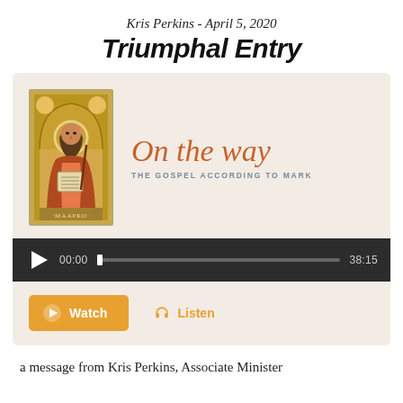Kris Perkins - April 5, 2020
Triumphal Entry
[Figure (screenshot): Media player card with a religious icon image of Saint Mark on the left, and 'On the way - The Gospel According to Mark' series logo on the right, on a warm beige background. Below is a dark audio player bar showing 00:00 / 38:15, and action buttons for Watch and Listen.]
a message from Kris Perkins, Associate Minister